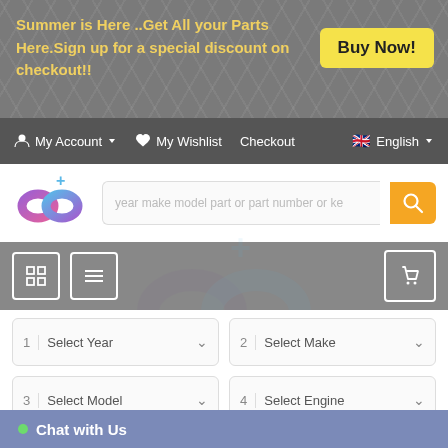Summer is Here ..Get All your Parts Here.Sign up for a special discount on checkout!!
Buy Now!
My Account  My Wishlist  Checkout  English
[Figure (logo): Infinity plus loop logo in blue/purple/pink gradient with a plus sign]
year make model part or part number or ke
[Figure (screenshot): Icon toolbar with grid view, list view icons, large watermark logo in center, and cart icon on the right]
LIMIT+
1 | Select Year
2 | Select Make
3 | Select Model
4 | Select Engine
5 | Select Part Type
6 | Select Sub-Part
Search
Reset
Chat with Us